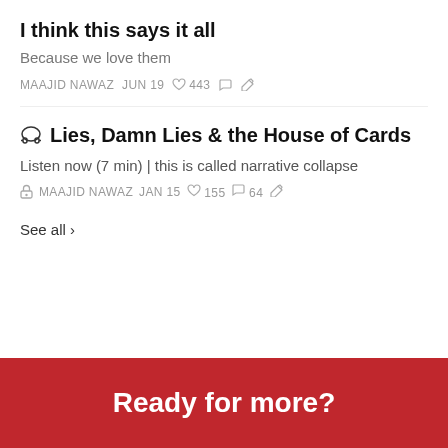I think this says it all
Because we love them
MAAJID NAWAZ   JUN 19   ♡ 443   ◯   ↪
🎧 Lies, Damn Lies & the House of Cards
Listen now (7 min) | this is called narrative collapse
🔒  MAAJID NAWAZ   JAN 15   ♡ 155   ◯ 64   ↪
See all ›
Ready for more?